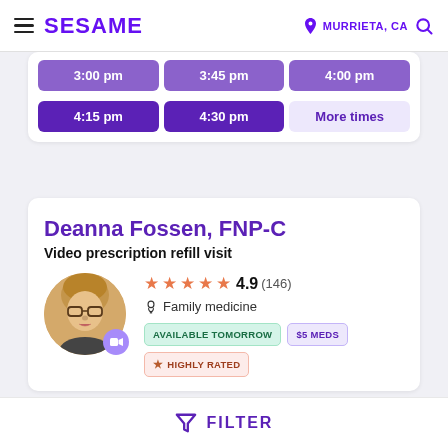SESAME  MURRIETA, CA
| 3:00 pm | 3:45 pm | 4:00 pm |
| 4:15 pm | 4:30 pm | More times |
Deanna Fossen, FNP-C
Video prescription refill visit
4.9 (146)  Family medicine  AVAILABLE TOMORROW  $5 MEDS  HIGHLY RATED
"Deanna was amazing, very personable and professional at the same time. I would totally see her again if I was in need
FILTER